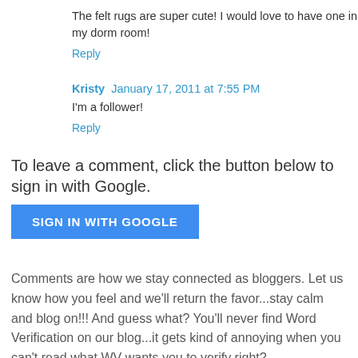The felt rugs are super cute! I would love to have one in my dorm room!
Reply
Kristy  January 17, 2011 at 7:55 PM
I'm a follower!
Reply
To leave a comment, click the button below to sign in with Google.
SIGN IN WITH GOOGLE
Comments are how we stay connected as bloggers. Let us know how you feel and we'll return the favor...stay calm and blog on!!! And guess what? You'll never find Word Verification on our blog...it gets kind of annoying when you can't read what WV wants you to verify right?